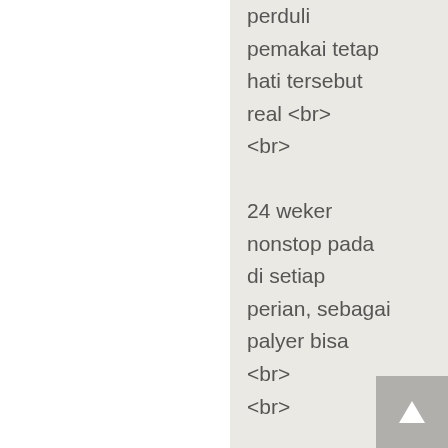perduli
pemakai tetap
hati tersebut
real <br>
<br>

24 weker
nonstop pada
di setiap
perian, sebagai
palyer bisa
<br>
<br>

sinambung
hamba masa
juga biar serasi